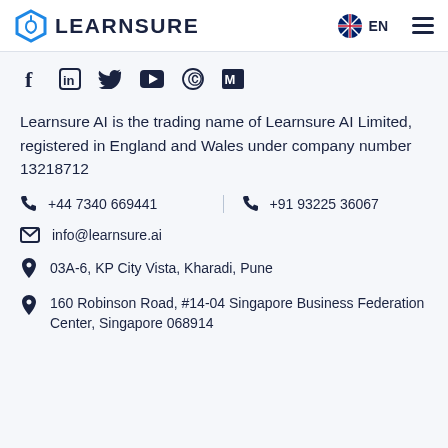LEARNSURE  EN
[Figure (logo): Learnsure AI logo with hexagon icon and bold text LEARNSURE, UK flag icon with EN label, and hamburger menu icon]
[Figure (infographic): Social media icons row: Facebook, LinkedIn, Twitter, YouTube, Pinterest, Medium]
Learnsure AI is the trading name of Learnsure AI Limited, registered in England and Wales under company number 13218712
+44 7340 669441
+91 93225 36067
info@learnsure.ai
03A-6, KP City Vista, Kharadi, Pune
160 Robinson Road, #14-04 Singapore Business Federation Center, Singapore 068914